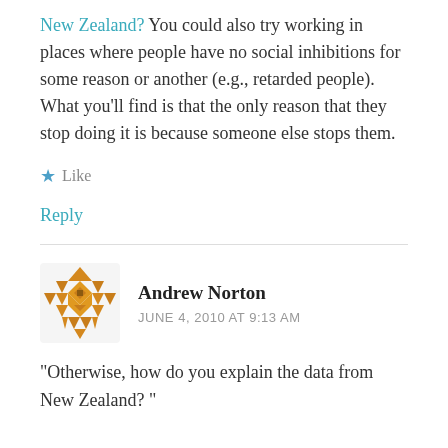New Zealand? You could also try working in places where people have no social inhibitions for some reason or another (e.g., retarded people). What you'll find is that the only reason that they stop doing it is because someone else stops them.
★ Like
Reply
Andrew Norton
JUNE 4, 2010 AT 9:13 AM
"Otherwise, how do you explain the data from New Zealand? "